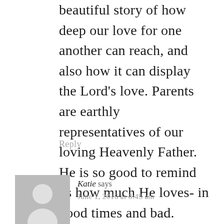beautiful story of how deep our love for one another can reach, and also how it can display the Lord’s love. Parents are earthly representatives of our loving Heavenly Father. He is so good to remind us how much He loves- in good times and bad.
Reply
[Figure (illustration): Generic grey avatar placeholder image with silhouette of a person]
Katie says
June 1, 2016 at 8:49 am